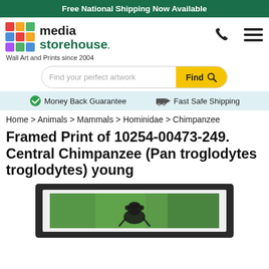Free National Shipping Now Available
[Figure (logo): Media Storehouse logo with colorful grid icon and text. Wall Art and Prints since 2004]
Find your perfect artwork
Money Back Guarantee   Fast Safe Shipping
Home > Animals > Mammals > Hominidae > Chimpanzee
Framed Print of 10254-00473-249. Central Chimpanzee (Pan troglodytes troglodytes) young
[Figure (photo): Framed print of a young Central Chimpanzee (Pan troglodytes troglodytes) in a black frame with white mat, showing chimpanzee against green background]